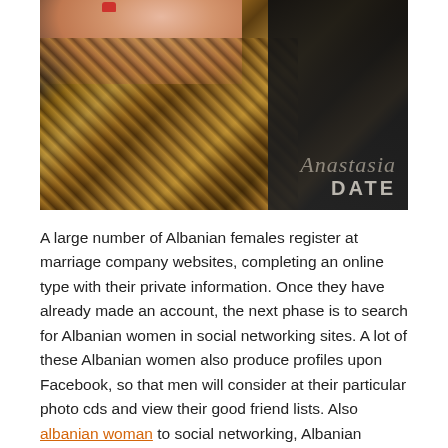[Figure (photo): Close-up photo of a woman wearing a leopard/snake print dress against a dark background, with an AnastasiaDate watermark in the lower right corner.]
A large number of Albanian females register at marriage company websites, completing an online type with their private information. Once they have already made an account, the next phase is to search for Albanian women in social networking sites. A lot of these Albanian women also produce profiles upon Facebook, so that men will consider at their particular photo cds and view their good friend lists. Also albanian woman to social networking, Albanian